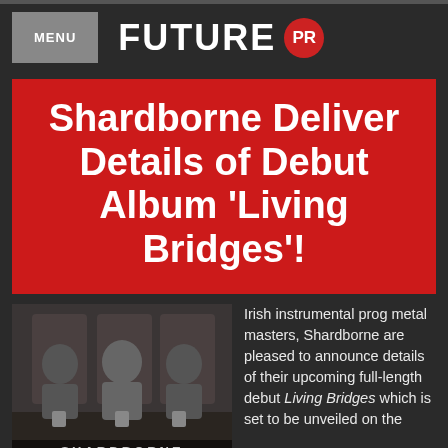FUTURE PR
Shardborne Deliver Details of Debut Album ‘Living Bridges’!
[Figure (photo): Black and white photo of three band members of Shardborne seated at a table, with the word SHARDBORNE visible at the bottom]
Irish instrumental prog metal masters, Shardborne are pleased to announce details of their upcoming full-length debut Living Bridges which is set to be unveiled on the